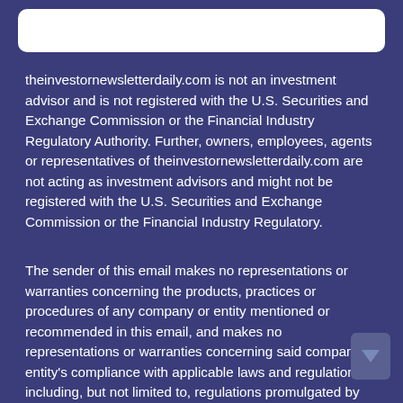theinvestornewsletterdaily.com is not an investment advisor and is not registered with the U.S. Securities and Exchange Commission or the Financial Industry Regulatory Authority. Further, owners, employees, agents or representatives of theinvestornewsletterdaily.com are not acting as investment advisors and might not be registered with the U.S. Securities and Exchange Commission or the Financial Industry Regulatory.
The sender of this email makes no representations or warranties concerning the products, practices or procedures of any company or entity mentioned or recommended in this email, and makes no representations or warranties concerning said company or entity's compliance with applicable laws and regulations, including, but not limited to, regulations promulgated by the SEC or the CFTC. The sender of this email may receive a portion of the proceeds from the sale of any products or services offered by a company or entity mentioned or recommended in this email. The recipient of this email assumes responsibility for conducting its own due